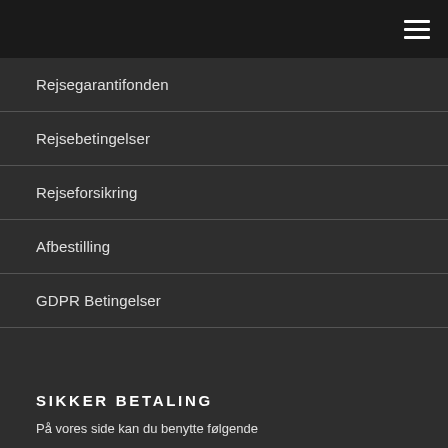Rejsegarantifonden
Rejsebetingelser
Rejseforsikring
Afbestilling
GDPR Betingelser
SIKKER BETALING
På vores side kan du benytte følgende